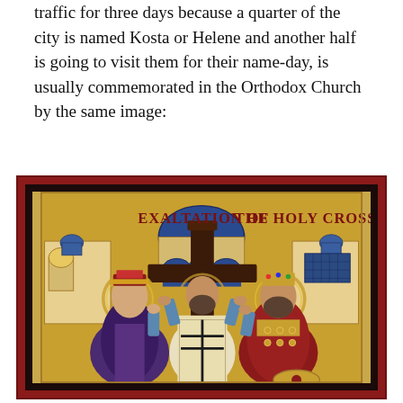traffic for three days because a quarter of the city is named Kosta or Helene and another half is going to visit them for their name-day, is usually commemorated in the Orthodox Church by the same image:
[Figure (illustration): Orthodox Christian icon depicting the Exaltation of the Holy Cross. The icon shows a large dark wooden cross in the center, with a bearded bishop/priest elevating it with both hands raised. To the left stands a female saint (Helen) wearing ornate robes and crown/headpiece with a halo. To the right stands a male saint (Constantine) wearing imperial robes and a jeweled crown with a halo. The background is gold leaf with Byzantine architecture including blue domes and arched buildings. Text at the top reads 'EXALTATION OF THE HOLY CROSS' in dark red stylized letters.]